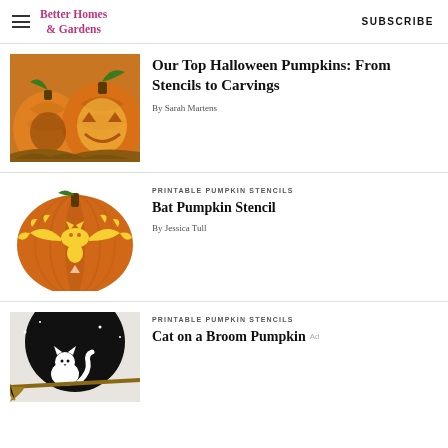Better Homes & Gardens  SUBSCRIBE
[Figure (photo): Photo of carved Halloween pumpkins glowing orange]
Our Top Halloween Pumpkins: From Stencils to Carvings
By Sarah Martens
[Figure (photo): Photo of a pumpkin carved with a bat stencil design in yellow/orange tones]
PRINTABLE PUMPKIN STENCILS
Bat Pumpkin Stencil
By Jessica Tull
[Figure (photo): Photo of a pumpkin stencil showing a black cat on a broom silhouette]
PRINTABLE PUMPKIN STENCILS
Cat on a Broom Pumpkin
Ad